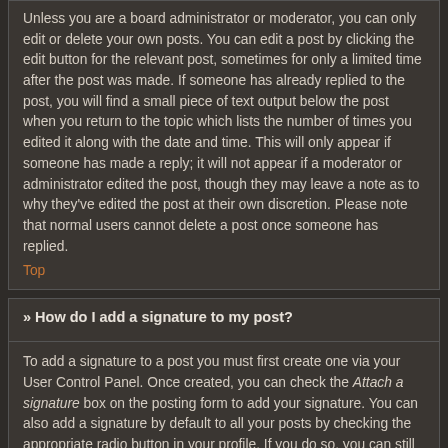Unless you are a board administrator or moderator, you can only edit or delete your own posts. You can edit a post by clicking the edit button for the relevant post, sometimes for only a limited time after the post was made. If someone has already replied to the post, you will find a small piece of text output below the post when you return to the topic which lists the number of times you edited it along with the date and time. This will only appear if someone has made a reply; it will not appear if a moderator or administrator edited the post, though they may leave a note as to why they've edited the post at their own discretion. Please note that normal users cannot delete a post once someone has replied.
Top
» How do I add a signature to my post?
To add a signature to a post you must first create one via your User Control Panel. Once created, you can check the Attach a signature box on the posting form to add your signature. You can also add a signature by default to all your posts by checking the appropriate radio button in your profile. If you do so, you can still prevent a signature being added to individual posts by un-checking the add signature box within the posting form.
Top
» How do I create a poll?
When posting a new topic or editing the first post of a topic, click the "Poll creation" tab below the main posting form; if you cannot